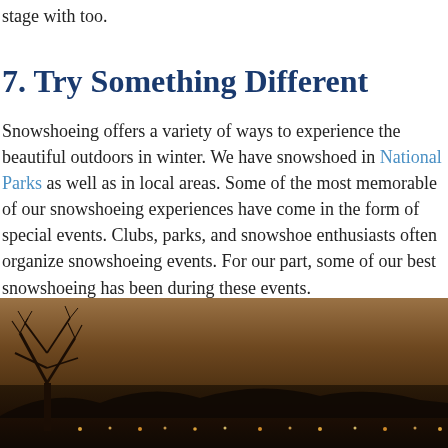stage with too.
7. Try Something Different
Snowshoeing offers a variety of ways to experience the beautiful outdoors in winter. We have snowshoed in National Parks as well as in local areas. Some of the most memorable of our snowshoeing experiences have come in the form of special events. Clubs, parks, and snowshoe enthusiasts often organize snowshoeing events. For our part, some of our best snowshoeing has been during these events.
[Figure (photo): Night or dusk winter scene showing a bare tree silhouette on the left against a warm brownish-orange sky, with lights visible along the horizon and dark ground in the foreground.]